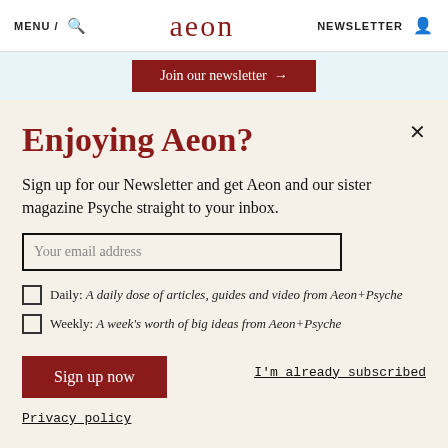MENU / 🔍  aeon  NEWSLETTER 👤
Join our newsletter →
Enjoying Aeon?
Sign up for our Newsletter and get Aeon and our sister magazine Psyche straight to your inbox.
Your email address
Daily: A daily dose of articles, guides and video from Aeon+Psyche
Weekly: A week's worth of big ideas from Aeon+Psyche
Sign up now
I'm already subscribed
Privacy policy